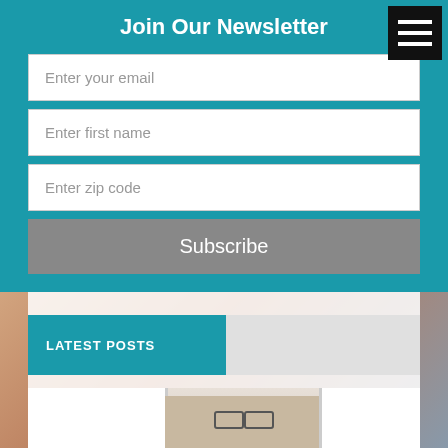Join Our Newsletter
Enter your email
Enter first name
Enter zip code
Subscribe
LATEST POSTS
[Figure (photo): Partial face of person visible between white shelving/cabinet panels, showing eyes with glasses]